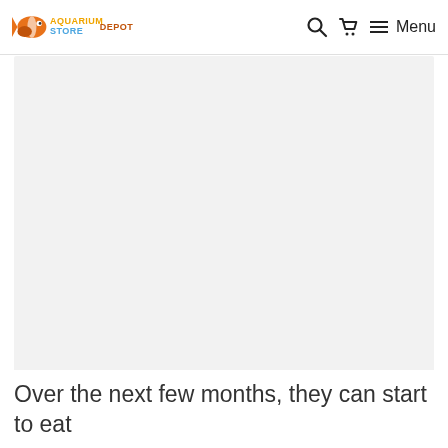Aquarium Store Depot — Menu
[Figure (photo): Large rectangular light gray image placeholder area, likely showing aquarium or fish content]
Over the next few months, they can start to eat